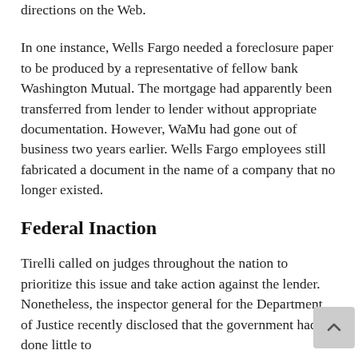directions on the Web.
In one instance, Wells Fargo needed a foreclosure paper to be produced by a representative of fellow bank Washington Mutual. The mortgage had apparently been transferred from lender to lender without appropriate documentation. However, WaMu had gone out of business two years earlier. Wells Fargo employees still fabricated a document in the name of a company that no longer existed.
Federal Inaction
Tirelli called on judges throughout the nation to prioritize this issue and take action against the lender. Nonetheless, the inspector general for the Department of Justice recently disclosed that the government had done little to